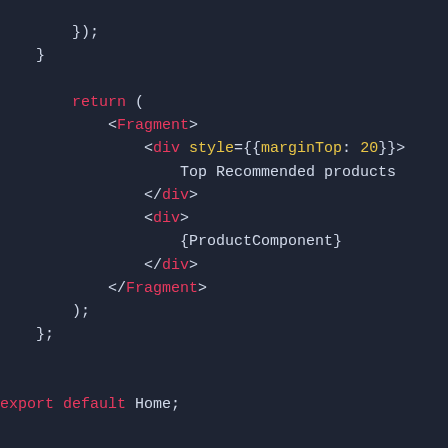[Figure (screenshot): Code editor screenshot showing JSX/React code with dark background. Shows closing braces, return statement with Fragment, div elements with style and ProductComponent, and export default statement. Syntax highlighting with pink for JSX tags and keywords, yellow for attribute names, and white for other text.]